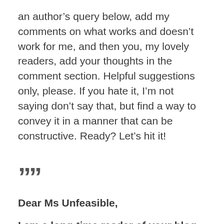an author's query below, add my comments on what works and doesn't work for me, and then you, my lovely readers, add your thoughts in the comment section. Helpful suggestions only, please. If you hate it, I'm not saying don't say that, but find a way to convey it in a manner that can be constructive. Ready? Let's hit it!
””
Dear Ms Unfeasible,
I am a long-time reader of your blog, and general admirer of your agenting philosophy and clients.